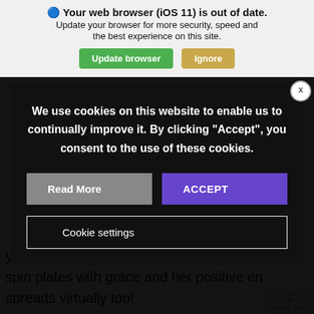Your web browser (iOS 11) is out of date. Update your browser for more security, speed and the best experience on this site.
Update browser | Ignore
We use cookies on this website to enable us to continually improve it. By clicking "Accept", you consent to the use of these cookies.
Read More | ACCEPT
Cookie settings
yog and a travel junkie! Amy has the abl spin plates with grace and her positive en spreads virtually too!